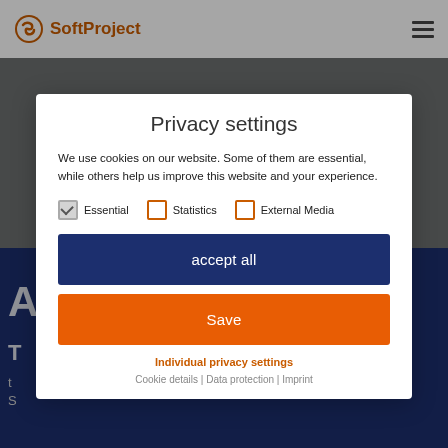[Figure (logo): SoftProject logo with orange circle icon and text]
[Figure (screenshot): Privacy settings modal dialog on SoftProject website with dark background. Contains title 'Privacy settings', descriptive text, checkboxes for Essential (checked), Statistics, and External Media, accept all button, Save button, Individual privacy settings link, and footer links.]
Privacy settings
We use cookies on our website. Some of them are essential, while others help us improve this website and your experience.
Essential   Statistics   External Media
accept all
Save
Individual privacy settings
Cookie details | Data protection | Imprint